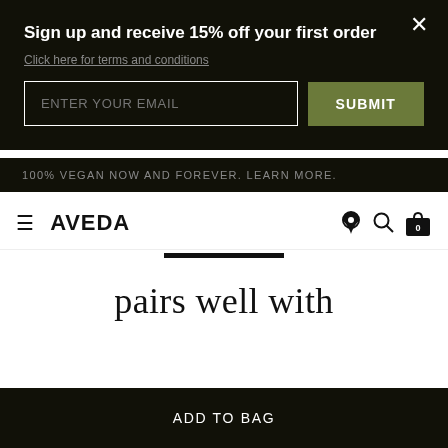Sign up and receive 15% off your first order
Click here for terms and conditions
ENTER YOUR EMAIL
SUBMIT
100% VEGAN NOW AND FOREVER. LEARN MORE.
[Figure (logo): AVEDA logo with hamburger menu and navigation icons (location pin, search, cart with 0)]
pairs well with
ADD TO BAG